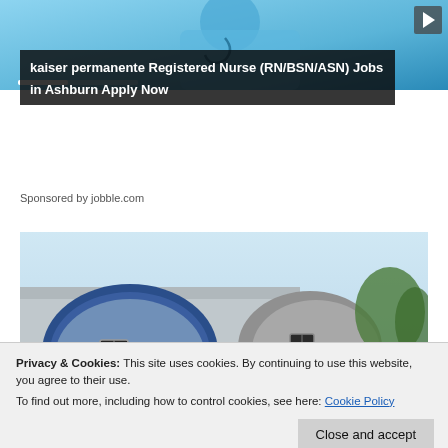[Figure (photo): Ad banner with nurse in blue scrubs and Kaiser Permanente job advertisement overlay]
kaiser permanente Registered Nurse (RN/BSN/ASN) Jobs in Ashburn Apply Now
Sponsored by jobble.com
[Figure (photo): Photo of barrel-shaped pod houses or cabins, cylindrical structures with small windows]
Privacy & Cookies: This site uses cookies. By continuing to use this website, you agree to their use.
To find out more, including how to control cookies, see here: Cookie Policy
Close and accept
[Photos] At 83, Ali MacGraw ...